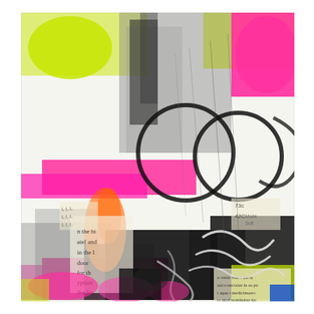[Figure (illustration): Abstract mixed-media collage artwork featuring vibrant neon pink, yellow-green, black, white, and orange paint strokes and splatters. Contains collaged text fragments (partially visible words including 'n the bi', 'atel and', 'in the l', 'door', 'for th', 'yptian', 'the lin', and numbers '73c', '42C', 'Mode Soft'), graffiti-style white script lettering, large black hand-drawn circles/loops, and layered textural elements on a mixed background of gray, white, and neon colors.]